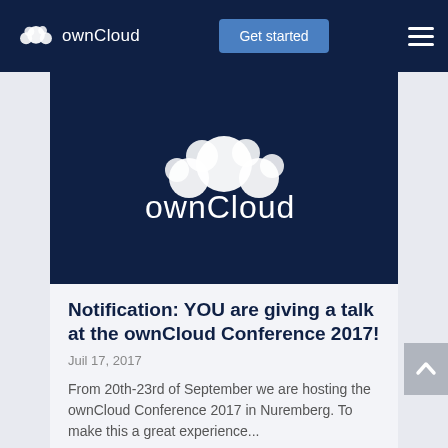ownCloud  |  Get started  |  ☰
[Figure (logo): ownCloud logo large white on dark navy background, hero banner image]
Notification: YOU are giving a talk at the ownCloud Conference 2017!
Juil 17, 2017
From 20th-23rd of September we are hosting the ownCloud Conference 2017 in Nuremberg. To make this a great experience...
lire plus >